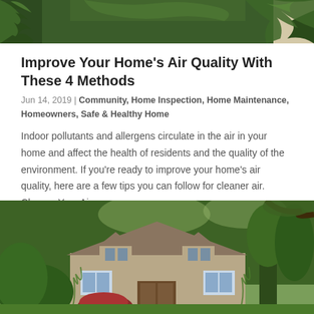[Figure (photo): Top portion of a photo showing green fern leaves against a light background]
Improve Your Home's Air Quality With These 4 Methods
Jun 14, 2019 | Community, Home Inspection, Home Maintenance, Homeowners, Safe & Healthy Home
Indoor pollutants and allergens circulate in the air in your home and affect the health of residents and the quality of the environment. If you're ready to improve your home's air quality, here are a few tips you can follow for cleaner air. Change Your Air...
[Figure (photo): Photo of a house surrounded by lush green trees and shrubs, with a Tudor-style architecture visible]